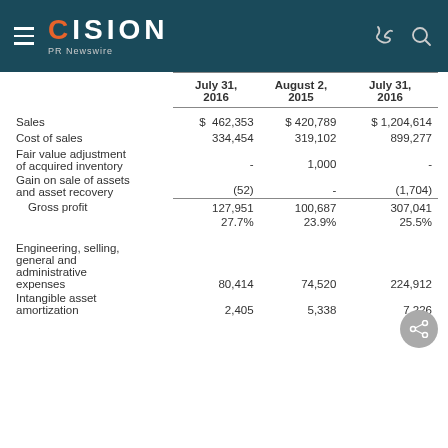CISION PR Newswire
|  | July 31, 2016 | August 2, 2015 | July 31, 2016 |
| --- | --- | --- | --- |
| Sales | $ 462,353 | $ 420,789 | $ 1,204,614 |
| Cost of sales | 334,454 | 319,102 | 899,277 |
| Fair value adjustment of acquired inventory | - | 1,000 | - |
| Gain on sale of assets and asset recovery | (52) | - | (1,704) |
| Gross profit | 127,951 | 100,687 | 307,041 |
|  | 27.7% | 23.9% | 25.5% |
| Engineering, selling, general and administrative expenses | 80,414 | 74,520 | 224,912 |
| Intangible asset amortization | 2,405 | 5,338 | 7,226 |